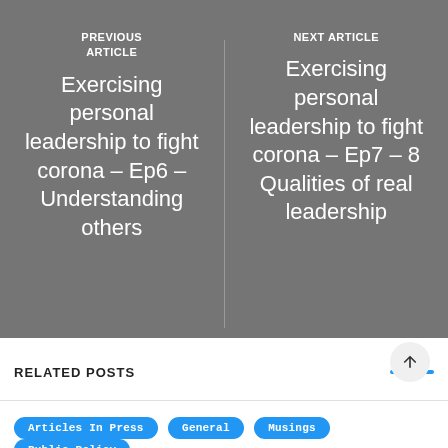PREVIOUS ARTICLE
Exercising personal leadership to fight corona – Ep6 – Understanding others
NEXT ARTICLE
Exercising personal leadership to fight corona – Ep7 – 8 Qualities of real leadership
RELATED POSTS
Articles In Press
General
Musings
Public Policy